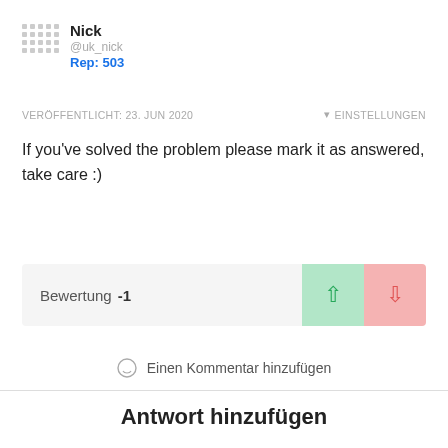Nick
@uk_nick
Rep: 503
VERÖFFENTLICHT: 23. JUN 2020    ▾ EINSTELLUNGEN
If you've solved the problem please mark it as answered, take care :)
Bewertung -1
Einen Kommentar hinzufügen
Antwort hinzufügen